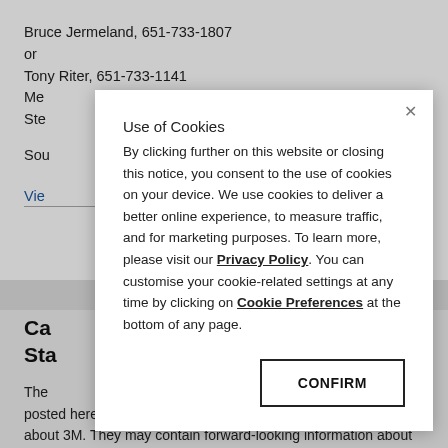Bruce Jermeland, 651-733-1807
or
Tony Riter, 651-733-1141
Media Contact:
Stephanie
Source:
View
Ca...
Sta...
The
posted herein, contains a significant amount of information about 3M. They may contain forward-looking information about 3M's financial results, estimates and business prospects that involve substantial risks and uncertainties that could cause actual results to differ materially. Forward-looking statements
[Figure (screenshot): Cookie consent modal dialog overlaying a webpage. The modal contains the title 'Use of Cookies', body text about cookie usage and links to Privacy Policy and Cookie Preferences, and a CONFIRM button.]